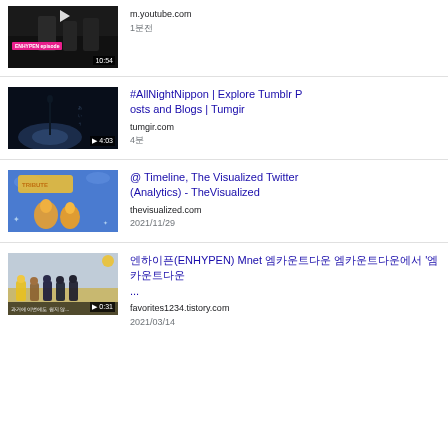m.youtube.com | 1분전 | [thumbnail: ENHYPEN episode, duration 10:54]
#AllNightNippon | Explore Tumblr Posts and Blogs | Tumgir | tumgir.com | 4분 | [thumbnail: dark scene, duration 4:03]
@ Timeline, The Visualized Twitter (Analytics) - TheVisualized | thevisualized.com | 2021/11/29 | [thumbnail: colorful illustration]
엔하이픈(ENHYPEN) Mnet 엔하이픈의 엠카운트다운 '엠카운트다운... | favorites1234.tistory.com | 2021/03/14 | [thumbnail: outdoor group scene, duration 0:31]